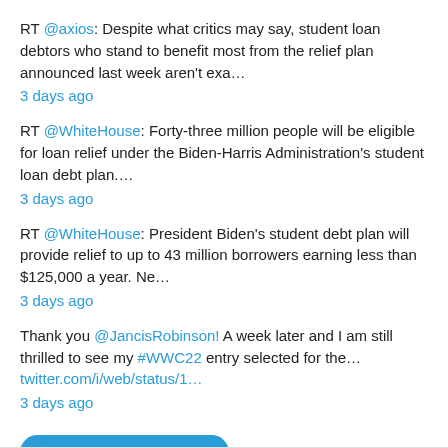RT @axios: Despite what critics may say, student loan debtors who stand to benefit most from the relief plan announced last week aren't exa… 3 days ago
RT @WhiteHouse: Forty-three million people will be eligible for loan relief under the Biden-Harris Administration's student loan debt plan…. 3 days ago
RT @WhiteHouse: President Biden's student debt plan will provide relief to up to 43 million borrowers earning less than $125,000 a year. Ne… 3 days ago
Thank you @JancisRobinson! A week later and I am still thrilled to see my #WWC22 entry selected for the… twitter.com/i/web/status/1… 3 days ago
Follow @artpredator